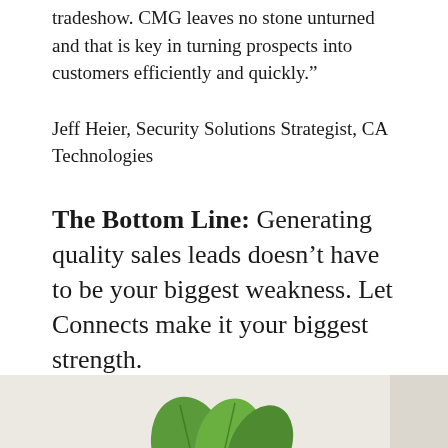tradeshow. CMG leaves no stone unturned and that is key in turning prospects into customers efficiently and quickly.”
Jeff Heier, Security Solutions Strategist, CA Technologies
The Bottom Line: Generating quality sales leads doesn’t have to be your biggest weakness. Let Connects make it your biggest strength.
[Figure (photo): Bottom portion of the page showing green plant leaves against a light background]